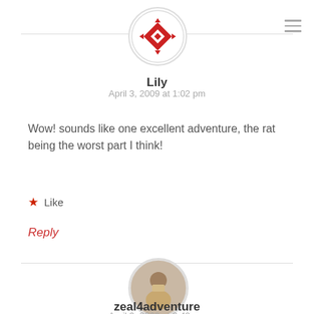[Figure (illustration): Round avatar with red geometric ninja-star/quilt-block icon on white background with light gray border]
Lily
April 3, 2009 at 1:02 pm
Wow! sounds like one excellent adventure, the rat being the worst part I think!
★ Like
Reply
[Figure (photo): Round avatar photo of a person, brownish tones, circular crop with light gray border]
zeal4adventure
April 3, 2009 at 3:42 pm